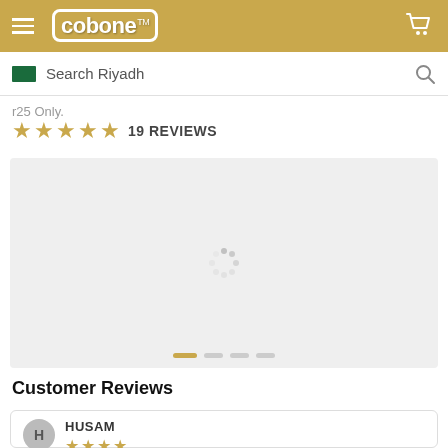cobone™ — navigation header with hamburger menu and cart icon
Search Riyadh
r25 Only.
★★★★★ 19 REVIEWS
[Figure (screenshot): Loading spinner on a light grey image carousel/slider area with pagination dots at the bottom]
Customer Reviews
H HUSAM ★★★★